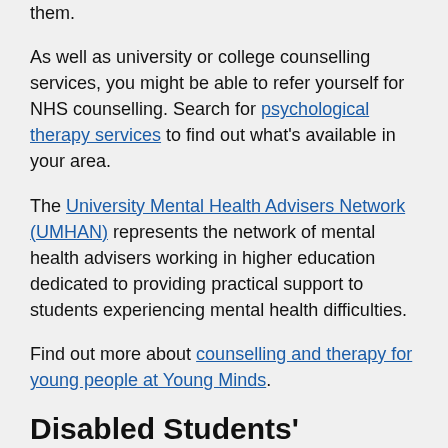them.
As well as university or college counselling services, you might be able to refer yourself for NHS counselling. Search for psychological therapy services to find out what's available in your area.
The University Mental Health Advisers Network (UMHAN) represents the network of mental health advisers working in higher education dedicated to providing practical support to students experiencing mental health difficulties.
Find out more about counselling and therapy for young people at Young Minds.
Disabled Students' Allowance (DSA)
At all UK universities, you have the opportunity to apply for a Disabled Students' Allowance (DSA).